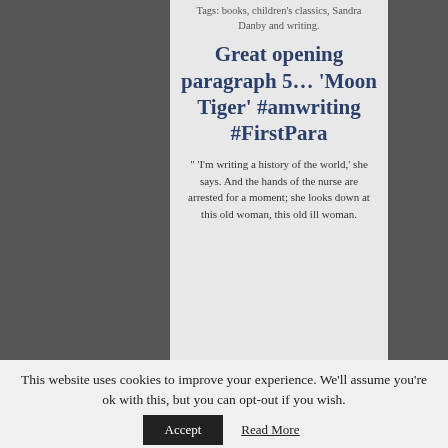Tags: books, children's classics, Sandra Danby and writing.
Great opening paragraph 5… ‘Moon Tiger’ #amwriting #FirstPara
“ ‘I’m writing a history of the world,’ she says. And the hands of the nurse are arrested for a moment; she looks down at this old woman, this old ill woman.
This website uses cookies to improve your experience. We’ll assume you’re ok with this, but you can opt-out if you wish.